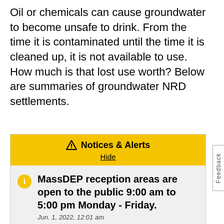Oil or chemicals can cause groundwater to become unsafe to drink. From the time it is contaminated until the time it is cleaned up, it is not available to use. How much is that lost use worth? Below are summaries of groundwater NRD settlements.
[Figure (other): Notices & Alerts box with yellow header containing warning triangle icon and 'Notices & Alerts' title with 'Hide' link, and a gray body section with an orange info icon and bold text 'MassDEP reception areas are open to the public 9:00 am to 5:00 pm Monday - Friday.' with date 'Jun. 1, 2022, 12:01 am']